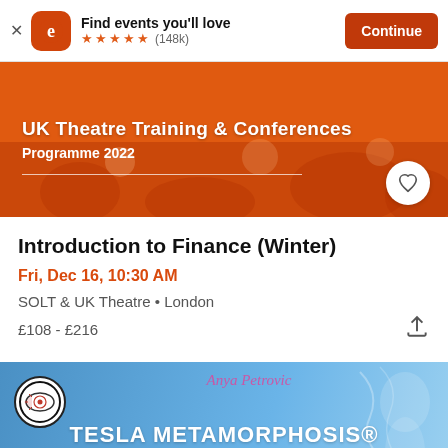[Figure (screenshot): Eventbrite app install banner with logo, star rating (148k reviews), and Continue button]
[Figure (photo): Orange-tinted event banner image with text 'UK Theatre Training & Conferences Programme 2022']
Introduction to Finance (Winter)
Fri, Dec 16, 10:30 AM
SOLT & UK Theatre • London
£108 - £216
[Figure (photo): Tesla Metamorphosis Academy banner with logo, signature, and blue gradient background]